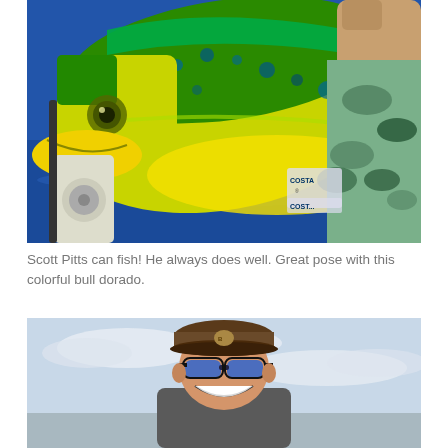[Figure (photo): A man holding up a large, colorful bull dorado (mahi-mahi) fish. The fish is very large and brightly colored green and yellow with blue spots. The man is wearing a camouflage fishing shirt and has a Costa fishing rod and reel visible. Blue ocean water is in the background.]
Scott Pitts can fish! He always does well. Great pose with this colorful bull dorado.
[Figure (photo): A man wearing a brown cap with a patch logo and blue reflective sunglasses, smiling broadly. He appears to be outdoors with a light blue sky and some clouds in the background.]